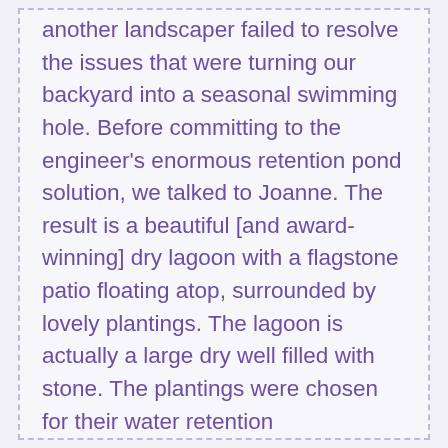another landscaper failed to resolve the issues that were turning our backyard into a seasonal swimming hole. Before committing to the engineer's enormous retention pond solution, we talked to Joanne. The result is a beautiful [and award-winning] dry lagoon with a flagstone patio floating atop, surrounded by lovely plantings. The lagoon is actually a large dry well filled with stone. The plantings were chosen for their water retention characteristics as well as their beauty. The practicality of the design was tested almost immediately by the arrival of two back to back hurricanes that inundated the region with record flooding. For the first time in several years we had a dry basement and a lawn instead of a swamp. We extended the design to the front lawn with a dry stream bed concept, and the sump pumps have not